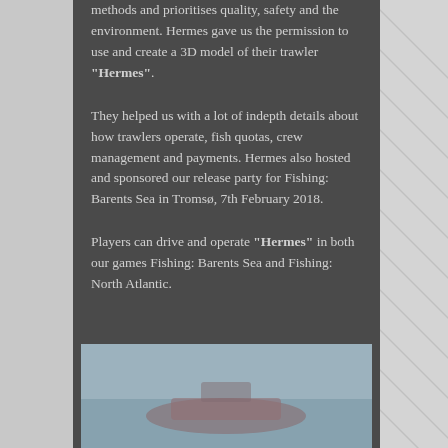methods and prioritises quality, safety and the environment. Hermes gave us the permission to use and create a 3D model of their trawler "Hermes".
They helped us with a lot of indepth details about how trawlers operate, fish quotas, crew management and payments. Hermes also hosted and sponsored our release party for Fishing: Barents Sea in Tromsø, 7th February 2018.
Players can drive and operate "Hermes" in both our games Fishing: Barents Sea and Fishing: North Atlantic.
[Figure (photo): Partially visible photograph of a trawler vessel, blurred/foggy, appearing to show a red-hulled boat on water with grey sky]